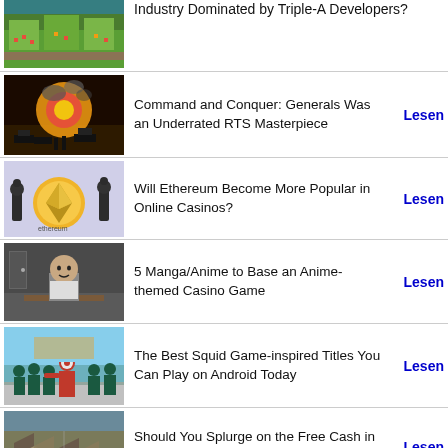Industry Dominated by Triple-A Developers?
Command and Conquer: Generals Was an Underrated RTS Masterpiece
Will Ethereum Become More Popular in Online Casinos?
5 Manga/Anime to Base an Anime-themed Casino Game
The Best Squid Game-inspired Titles You Can Play on Android Today
Should You Splurge on the Free Cash in RTS Games?
How Has Bingo Changed